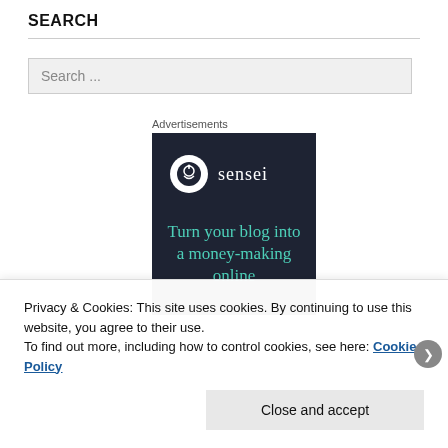SEARCH
Search ...
Advertisements
[Figure (illustration): Sensei advertisement banner with dark background. Shows sensei logo (white circle with tree/person icon) and text 'sensei'. Tagline reads 'Turn your blog into a money-making online']
Privacy & Cookies: This site uses cookies. By continuing to use this website, you agree to their use.
To find out more, including how to control cookies, see here: Cookie Policy
Close and accept